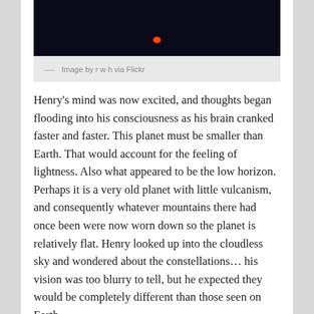[Figure (photo): Dark night scene with a small fire or glowing light in the center, trees silhouetted against a very dark sky]
— Image by r w h via Flickr
Henry's mind was now excited, and thoughts began flooding into his consciousness as his brain cranked faster and faster. This planet must be smaller than Earth. That would account for the feeling of lightness. Also what appeared to be the low horizon. Perhaps it is a very old planet with little vulcanism, and consequently whatever mountains there had once been were now worn down so the planet is relatively flat. Henry looked up into the cloudless sky and wondered about the constellations… his vision was too blurry to tell, but he expected they would be completely different than those seen on Earth.
Henry took a few steps forward. He realized that he was standing on what seemed to be a dusty road or path, about 20 feet wide. It seemed Earth-like until he realized the implication: there must be some sort of intelligent life